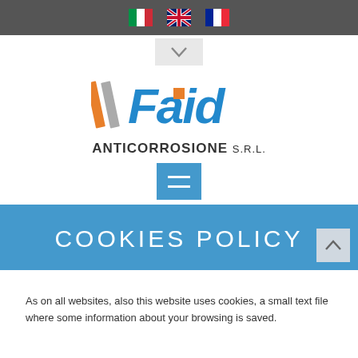[Figure (other): Top navigation bar with Italian, UK, and French flag icons on dark grey background]
[Figure (logo): Faid logo with orange and grey diagonal stripes and blue stylized text]
ANTICORROSIONE s.r.l.
[Figure (other): Blue hamburger menu button with two white horizontal lines]
COOKIES POLICY
As on all websites, also this website uses cookies, a small text file where some information about your browsing is saved.